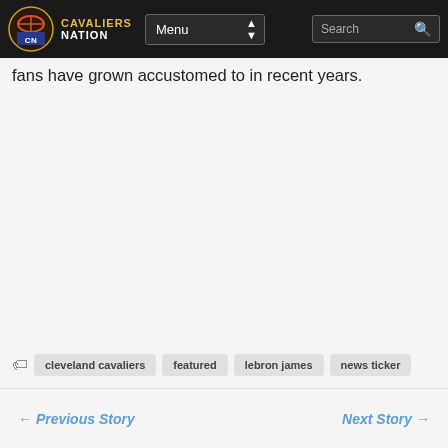Cavaliers Nation — Menu | Search
fans have grown accustomed to in recent years.
Tags: cleveland cavaliers, featured, lebron james, news ticker | ← Previous Story   Next Story →